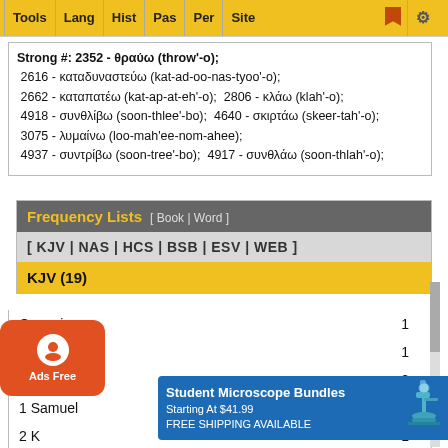Tools | Lang | Hist | Pas | Per | Site
Strong #: 2352 - θραύω (throw'-o); 2616 - καταδυναστεύω (kat-ad-oo-nas-tyoo'-o); 2662 - καταπατέω (kat-ap-at-eh'-o); 2806 - κλάω (klah'-o); 4918 - συνθλίβω (soon-thlee'-bo); 4640 - σκιρτάω (skeer-tah'-o); 3075 - λυμαίνω (loo-mah'ee-nom-ahee); 4937 - συντρίβω (soon-tree'-bo); 4917 - συνθλάω (soon-thlah'-o);
Frequency Lists [ Book | Word ]
[ KJV | NAS | HCS | BSB | ESV | WEB ]
KJV (19)
| Book | Count |
| --- | --- |
| Genesis | 1 |
| Deuteronomy | 1 |
| Judges | 2 |
| 1 Samuel | 2 |
| 2 K | 1 |
| 2 C | 1 |